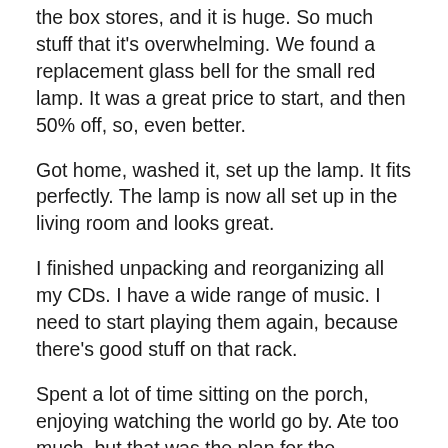The A/C store is just up the street from the complex with the box stores, and it is huge. So much stuff that it's overwhelming. We found a replacement glass bell for the small red lamp. It was a great price to start, and then 50% off, so, even better.
Got home, washed it, set up the lamp. It fits perfectly. The lamp is now all set up in the living room and looks great.
I finished unpacking and reorganizing all my CDs. I have a wide range of music. I need to start playing them again, because there's good stuff on that rack.
Spent a lot of time sitting on the porch, enjoying watching the world go by. Ate too much, but that was the plan for the weekend, anyway.
I expected to feel much more rested and restored, but oh,